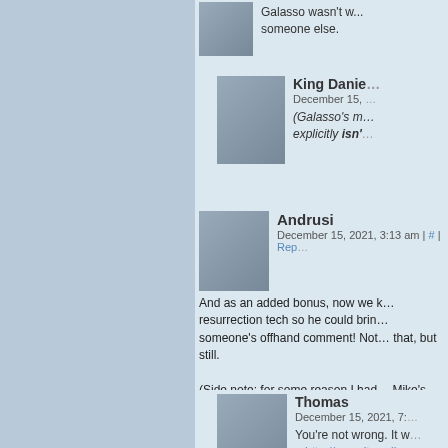Galasso wasn't w... someone else.
King Danie...
December 15, ...
(Galasso's m... explicitly isn'...
Andrusi
December 15, 2021, 3:13 am | # | Rep...
And as an added bonus, now we k... resurrection tech so he could brin... someone's offhand comment! Not... that, but still.
(Side note: for some reason I had... Mike's resurrection too.)
Thomas
December 15, 2021, 7:...
You're not wrong. It w... – http://www.itswalk...
Jason
December 16, 202...